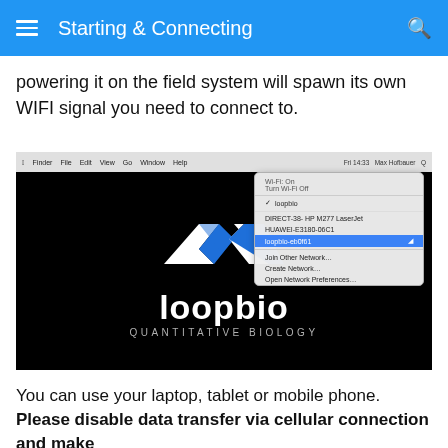Starting & Connecting
powering it on the field system will spawn its own WIFI signal you need to connect to.
[Figure (screenshot): Screenshot of a Mac desktop showing a WiFi dropdown menu with 'loopbio-eb0f61' selected, overlaid on the loopbio logo (geometric infinity/ribbon shape) on a black background with 'loopbio' and 'QUANTITATIVE BIOLOGY' text.]
You can use your laptop, tablet or mobile phone. Please disable data transfer via cellular connection and make